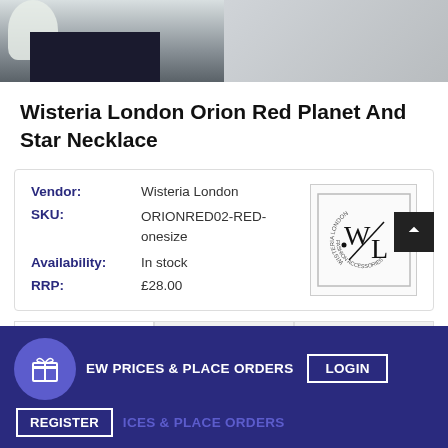[Figure (photo): Two product photos side by side at top: left shows dark jewelry box with white flowers, right shows item against grey background]
Wisteria London Orion Red Planet And Star Necklace
| Vendor: | Wisteria London |
| SKU: | ORIONRED02-RED-onesize |
| Availability: | In stock |
| RRP: | £28.00 |
[Figure (logo): Wisteria London Fashion Accessories logo with WL monogram and circular text]
Prices
Details
Description
EW PRICES & PLACE ORDERS
LOGIN
REGISTER
ICES & PLACE ORDERS